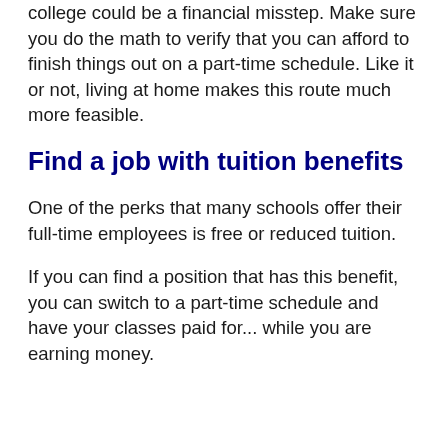college could be a financial misstep. Make sure you do the math to verify that you can afford to finish things out on a part-time schedule. Like it or not, living at home makes this route much more feasible.
Find a job with tuition benefits
One of the perks that many schools offer their full-time employees is free or reduced tuition.
If you can find a position that has this benefit, you can switch to a part-time schedule and have your classes paid for... while you are earning money.